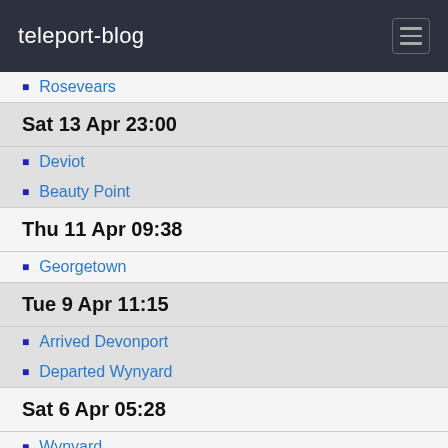teleport-blog
Rosevears
Sat 13 Apr 23:00
Deviot
Beauty Point
Thu 11 Apr 09:38
Georgetown
Tue 9 Apr 11:15
Arrived Devonport
Departed Wynyard
Sat 6 Apr 05:28
Wynyard
Wed 3 Apr 05:28
Strait Crossed
Tue 2 Apr 02:05
Light Winds
Mon 1 Apr 09:51